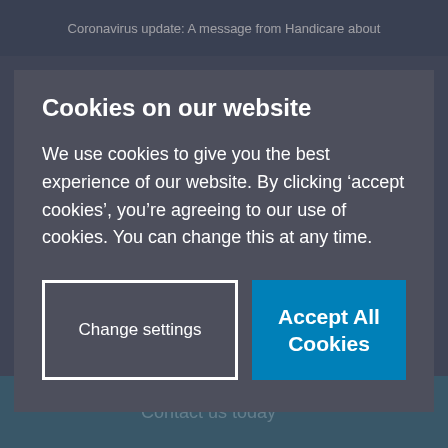Coronavirus update: A message from Handicare about
Cookies on our website
We use cookies to give you the best experience of our website. By clicking ‘accept cookies’, you’re agreeing to our use of cookies. You can change this at any time.
Change settings
Accept All Cookies
opportunity to see the world should be accessible for all. Explore some of the wonderful destinations recommended
Contact us today